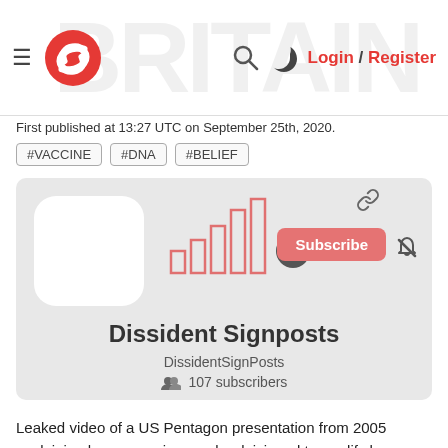Login / Register
First published at 13:27 UTC on September 25th, 2020.
#VACCINE
#DNA
#BELIEF
[Figure (screenshot): Channel card for Dissident Signposts with avatar placeholder, bar chart signal icon, subscribe button, 107 subscribers]
Leaked video of a US Pentagon presentation from 2005 explaining how a vaccine can be deisigned to modify human beliefs and behaviour. The context was to vaccinate Islamists to destroy their religious beliefs but could be applied to anyone, anywhere …